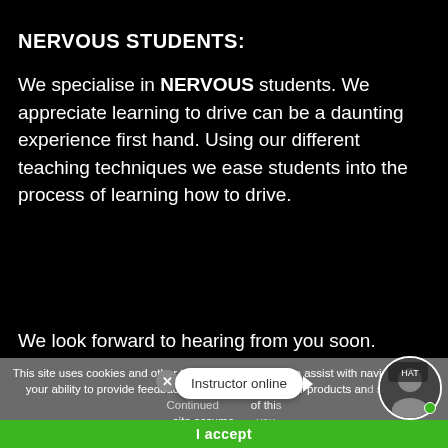NERVOUS STUDENTS:
We specialise in NERVOUS students. We appreciate learning to drive can be a daunting experience first hand. Using our different teaching techniques we ease students into the process of learning how to drive.
We look forward to hearing from you soon.
This site uses cookies and other tracking technologies to assist with navigation and your ability to provide feedback and analyse use of our products and services. Continued use of this site assumes you...
Instructor online
I accept